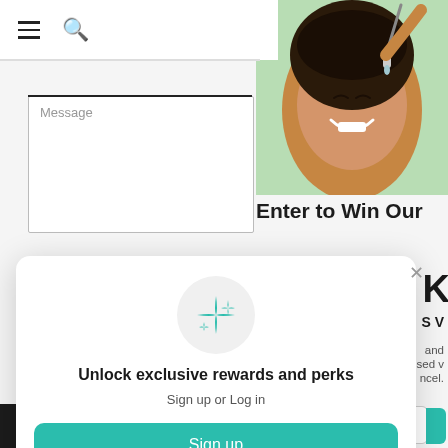[Figure (screenshot): Website screenshot showing navigation bar with hamburger menu and search icon on left, hero image of smiling woman applying serum on green background on right, 'Enter to Win Our' heading text, and a message input box]
Message
Enter to Win Our
K
S V
and
sed v
ncel.
[Figure (screenshot): Modal popup with sparkle stars icon in a circle, 'Unlock exclusive rewards and perks' heading, 'Sign up or Log in' subtext, teal Sign up button, and 'Already have an account? Sign in' link]
Unlock exclusive rewards and perks
Sign up or Log in
Sign up
Already have an account? Sign in
Shop